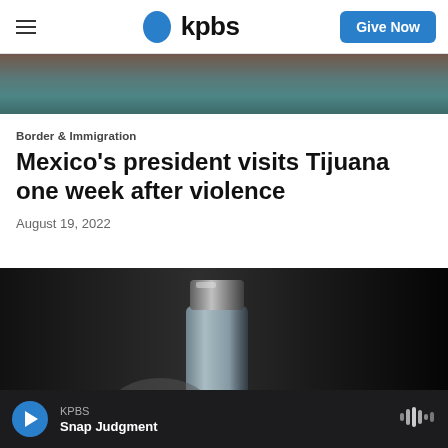KPBS — Give Now
[Figure (photo): Partial photo strip at top of page, blurred dark reddish and teal tones]
Border & Immigration
Mexico's president visits Tijuana one week after violence
August 19, 2022
[Figure (photo): Close-up photo of a medical/vaccine vial with metallic cap on a dark background]
KPBS
Snap Judgment